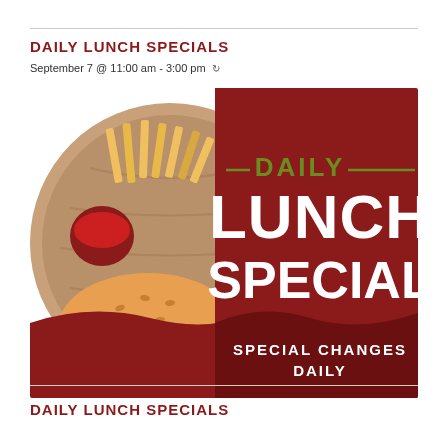DAILY LUNCH SPECIALS
September 7 @ 11:00 am - 3:00 pm
[Figure (illustration): Daily Lunch Special promotional banner with burger and fries on a wooden cutting board on the left, and bold text 'DAILY LUNCH SPECIAL' with 'SPECIAL CHANGES DAILY' on a dark red background on the right]
DAILY LUNCH SPECIALS